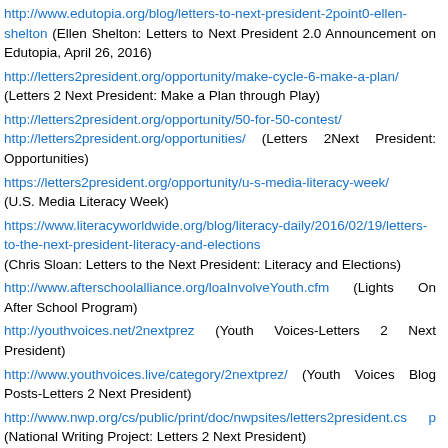http://www.edutopia.org/blog/letters-to-next-president-2point0-ellen-shelton (Ellen Shelton: Letters to Next President 2.0 Announcement on Edutopia, April 26, 2016)
http://letters2president.org/opportunity/make-cycle-6-make-a-plan/ (Letters 2 Next President: Make a Plan through Play)
http://letters2president.org/opportunity/50-for-50-contest/ http://letters2president.org/opportunities/ (Letters 2Next President: Opportunities)
https://letters2president.org/opportunity/u-s-media-literacy-week/ (U.S. Media Literacy Week)
https://www.literacyworldwide.org/blog/literacy-daily/2016/02/19/letters-to-the-next-president-literacy-and-elections (Chris Sloan: Letters to the Next President: Literacy and Elections)
http://www.afterschoolalliance.org/loaInvolveYouth.cfm (Lights On After School Program)
http://youthvoices.net/2nextprez (Youth Voices-Letters 2 Next President)
http://www.youthvoices.live/category/2nextprez/ (Youth Voices Blog Posts-Letters 2 Next President)
http://www.nwp.org/cs/public/print/doc/nwpsites/letters2president.csp (National Writing Project: Letters 2 Next President)